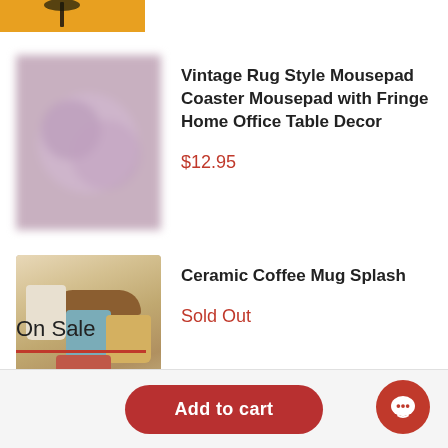[Figure (photo): Partial view of a product image at top - cropped, shows warm orange/amber background with a lamp]
[Figure (photo): Blurred product image of a Vintage Rug Style Mousepad Coaster]
Vintage Rug Style Mousepad Coaster Mousepad with Fringe Home Office Table Decor
$12.95
[Figure (photo): Photo of ceramic coffee mugs in various colors - blue, yellow, red/terracotta with speckled texture, on a table with a basket]
Ceramic Coffee Mug Splash
Sold Out
On Sale
Add to cart